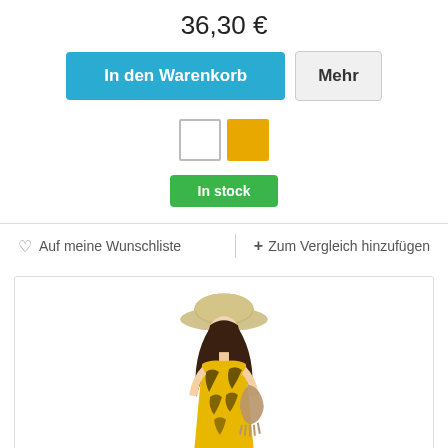36,30 €
In den Warenkorb
Mehr
In stock
♡ Auf meine Wunschliste
+ Zum Vergleich hinzufügen
[Figure (photo): Woman wearing a yellow patterned sleeveless dress, wide-brim straw hat, and carrying a bag, shown on white background]